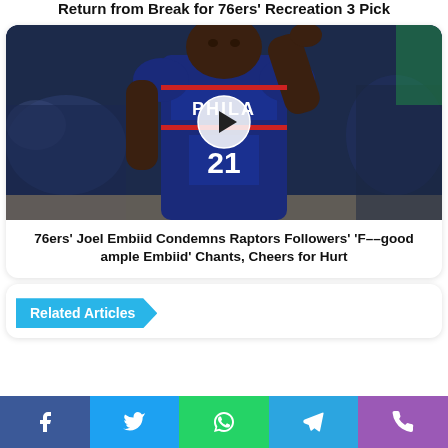Joel Embiid Posts We Train on Up Items After Return from Break for 76ers' Recreation 3 Pick
[Figure (photo): Joel Embiid wearing Philadelphia 76ers #21 blue jersey, raising his hand to his head, with a play button overlay in the center of the image.]
76ers' Joel Embiid Condemns Raptors Followers' 'F--good ample Embiid' Chants, Cheers for Hurt
Related Articles
Facebook | Twitter | WhatsApp | Telegram | Phone